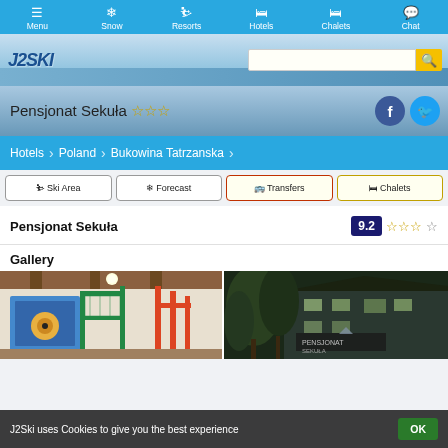Menu | Snow | Resorts | Hotels | Chalets | Chat
[Figure (screenshot): J2Ski logo with mountain/snow background and search bar]
Pensjonat Sekuła ☆☆☆
Hotels > Poland > Bukowina Tatrzanska
Ski Area
Forecast
Transfers
Chalets
Pensjonat Sekuła  9.2 ☆☆☆☆
Gallery
[Figure (photo): Indoor playground with colorful climbing frame structure]
[Figure (photo): Exterior of Pensjonat Sekuła hotel at night with trees]
J2Ski uses Cookies to give you the best experience  OK